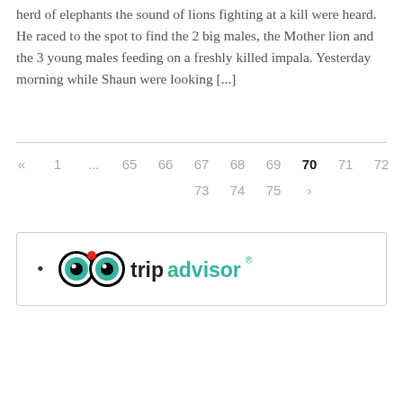herd of elephants the sound of lions fighting at a kill were heard. He raced to the spot to find the 2 big males, the Mother lion and the 3 young males feeding on a freshly killed impala. Yesterday morning while Shaun were looking [...]
tripadvisor (logo)